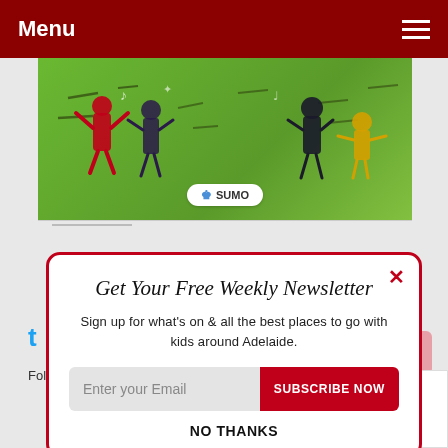Menu
[Figure (screenshot): Website screenshot showing a green illustrated banner with cartoon children figures, a SUMO badge overlay, and a newsletter subscription popup modal with red border.]
Get Your Free Weekly Newsletter
Sign up for what's on & all the best places to go with kids around Adelaide.
Enter your Email  SUBSCRIBE NOW
NO THANKS